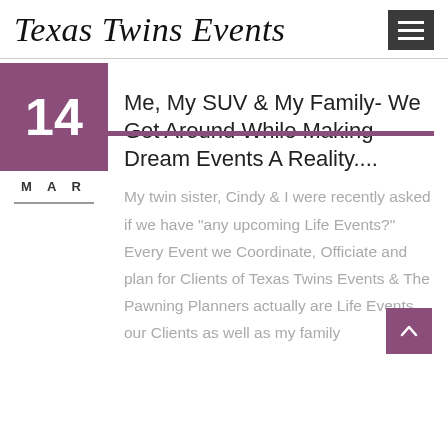Texas Twins Events
Me, My SUV & My Family- We Get Around While Making Dream Events A Reality....
My twin sister, Cindy & I were recently asked if we have "any upcoming Life Events?" Every Event we Coordinate, Officiate and plan for Clients of Texas Twins Events & The Pawning Planners actually are Life Events our Clients as well as my family